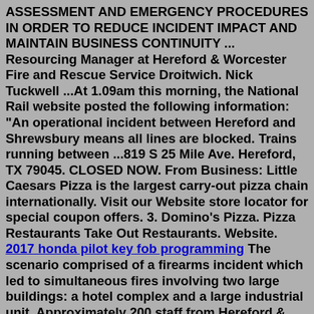ASSESSMENT AND EMERGENCY PROCEDURES IN ORDER TO REDUCE INCIDENT IMPACT AND MAINTAIN BUSINESS CONTINUITY ... Resourcing Manager at Hereford & Worcester Fire and Rescue Service Droitwich. Nick Tuckwell ...At 1.09am this morning, the National Rail website posted the following information: "An operational incident between Hereford and Shrewsbury means all lines are blocked. Trains running between ...819 S 25 Mile Ave. Hereford, TX 79045. CLOSED NOW. From Business: Little Caesars Pizza is the largest carry-out pizza chain internationally. Visit our Website store locator for special coupon offers. 3. Domino's Pizza. Pizza Restaurants Take Out Restaurants. Website. 2017 honda pilot key fob programming The scenario comprised of a firearms incident which led to simultaneous fires involving two large buildings: a hotel complex and a large industrial unit. Approximately 200 staff from Hereford & Worcester Fire and Rescue Service (HWFRS), West Midlands Fire Service, West Mercia Police and West Midlands...